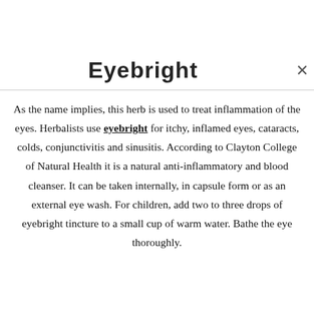Eyebright
As the name implies, this herb is used to treat inflammation of the eyes. Herbalists use eyebright for itchy, inflamed eyes, cataracts, colds, conjunctivitis and sinusitis. According to Clayton College of Natural Health it is a natural anti-inflammatory and blood cleanser. It can be taken internally, in capsule form or as an external eye wash. For children, add two to three drops of eyebright tincture to a small cup of warm water. Bathe the eye thoroughly.